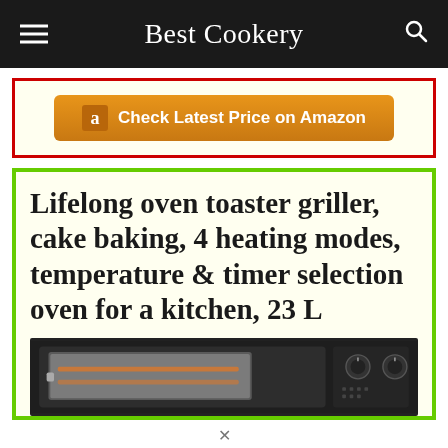Best Cookery
[Figure (other): Amazon button with text: Check Latest Price on Amazon, inside a red-bordered cream box]
Lifelong oven toaster griller, cake baking, 4 heating modes, temperature & timer selection oven for a kitchen, 23 L
[Figure (photo): Photo of a black toaster oven/griller appliance]